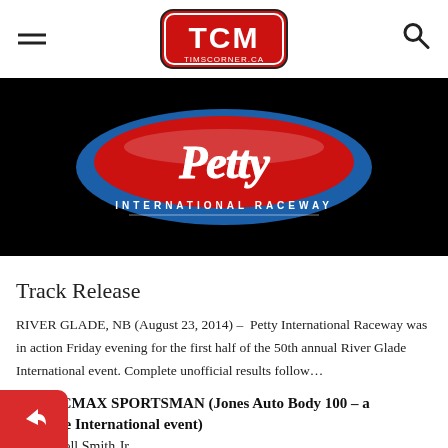TCM TIMSCORNER.CA
[Figure (logo): Petty International Raceway logo on black background — red oval with 'Petty' in white script and 'International Raceway' text below]
Track Release
RIVER GLADE, NB (August 23, 2014) – Petty International Raceway was in action Friday evening for the first half of the 50th annual River Glade International event. Complete unofficial results follow…
NAPA/CMAX SPORTSMAN (Jones Auto Body 100 – a er Glade International event)
1    Russell Smith Jr.